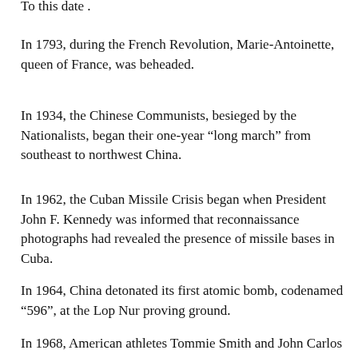To this date .
In 1793, during the French Revolution, Marie-Antoinette, queen of France, was beheaded.
In 1934, the Chinese Communists, besieged by the Nationalists, began their one-year “long march” from southeast to northwest China.
In 1962, the Cuban Missile Crisis began when President John F. Kennedy was informed that reconnaissance photographs had revealed the presence of missile bases in Cuba.
In 1964, China detonated its first atomic bomb, codenamed “596”, at the Lop Nur proving ground.
In 1968, American athletes Tommie Smith and John Carlos sparked controversy at the Olympic Games in Mexico City by saluting “Black Power” in a victory ceremony after winning gold